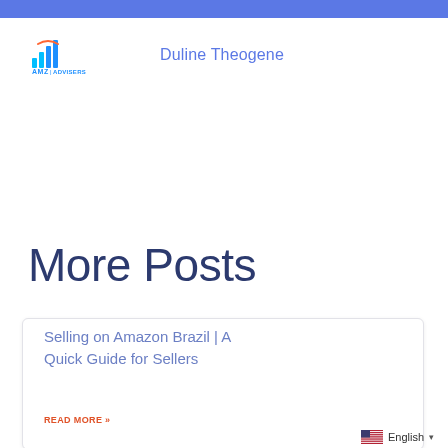[Figure (logo): AMZ Advisers logo with bar chart icon in cyan/blue and orange, text reads AMZ|ADVISERS]
Duline Theogene
More Posts
Selling on Amazon Brazil | A Quick Guide for Sellers
READ MORE »
English ▼